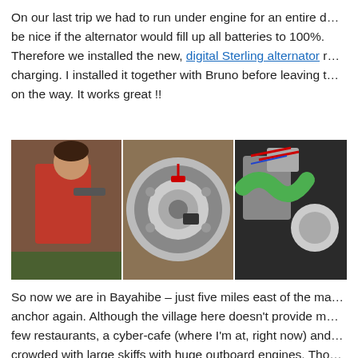On our last trip we had to run under engine for an entire d… be nice if the alternator would fill up all batteries to 100%. Therefore we installed the new, digital Sterling alternator r… charging. I installed it together with Bruno before leaving t… on the way. It works great !!
[Figure (photo): Three photos side by side: left photo shows a boy in a red shirt working on something; center photo shows a close-up of a circular alternator component; right photo shows engine compartment with green hose and alternator installed.]
So now we are in Bayahibe – just five miles east of the ma… anchor again. Although the village here doesn't provide m… few restaurants, a cyber-cafe (where I'm at, right now) and… crowded with large skiffs with huge outboard engines. Tho… Saona that's around the corner. This island will be our nex…